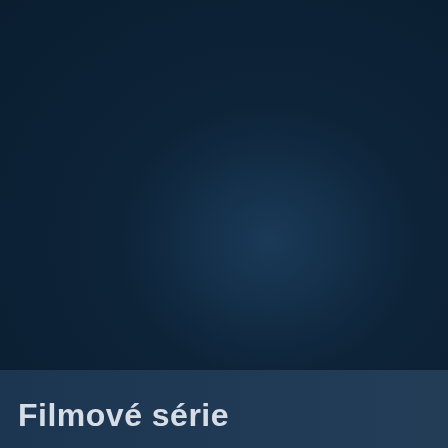[Figure (photo): Dark navy blue background image, likely a film or movie series cover image with subtle radial lighting effect in the center-right area.]
Filmové série